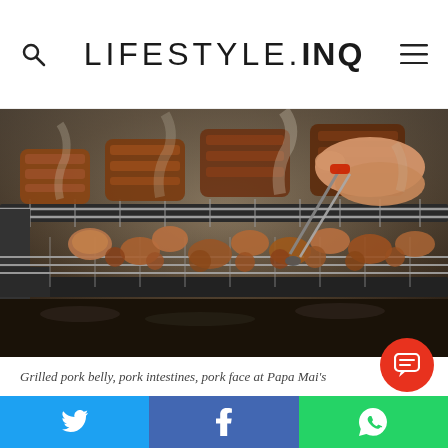LIFESTYLE.INQ
[Figure (photo): Close-up photo of grilled pork belly, pork intestines, and pork face being cooked on a metal grill rack with charcoal, smoke visible, person using tongs]
Grilled pork belly, pork intestines, pork face at Papa Mai's
Ba...